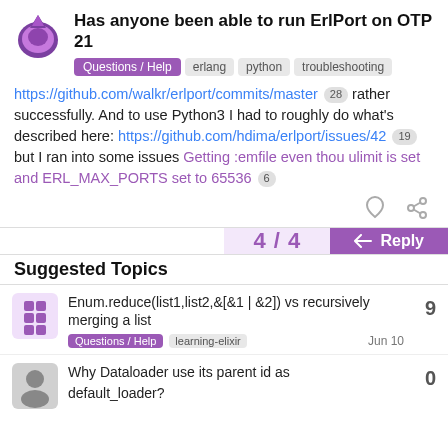Has anyone been able to run ErlPort on OTP 21
Questions / Help  erlang  python  troubleshooting
https://github.com/walkr/erlport/commits/master 28 rather successfully. And to use Python3 I had to roughly do what's described here: https://github.com/hdima/erlport/issues/42 19 but I ran into some issues Getting :emfile even thou ulimit is set and ERL_MAX_PORTS set to 65536 6
4 / 4
Reply
Suggested Topics
Enum.reduce(list1,list2,&[&1 | &2]) vs recursively merging a list
Questions / Help  learning-elixir  Jun 10
9
Why Dataloader use its parent id as default_loader?
0